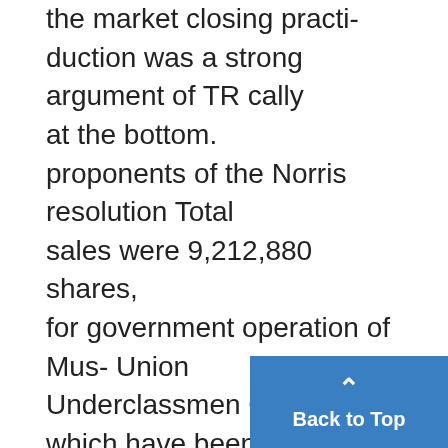the market closing practi-duction was a strong argument of TR cally at the bottom. proponents of the Norris resolution Total sales were 9,212,880 shares, for government operation of Mus- Union Underclassmen Committe which have been exceeded only by cle Shoals which was pocket vetoed Announces Group Rally the recording breaking total of 12,- by former Preident Coolidge. for 894,600 shares last Thursday. "If we can get Flathead River de